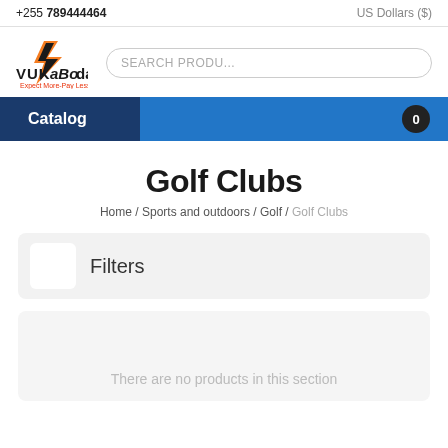+255 789444464    US Dollars ($)
[Figure (logo): VukaBoda logo with lightning bolt icon and tagline 'Expect More-Pay Less']
SEARCH PRODU...
Catalog
Golf Clubs
Home / Sports and outdoors / Golf / Golf Clubs
Filters
There are no products in this section